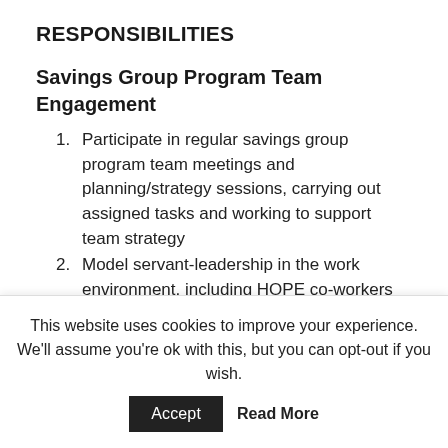RESPONSIBILITIES
Savings Group Program Team Engagement
Participate in regular savings group program team meetings and planning/strategy sessions, carrying out assigned tasks and working to support team strategy
Model servant-leadership in the work environment, including HOPE co-workers and ministry stakeholders
This website uses cookies to improve your experience. We'll assume you're ok with this, but you can opt-out if you wish.
Accept
Read More